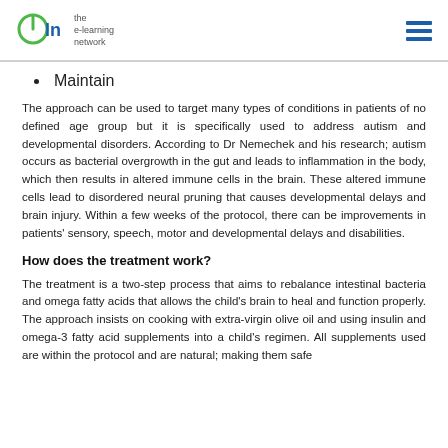eln the e-learning network
Maintain
The approach can be used to target many types of conditions in patients of no defined age group but it is specifically used to address autism and developmental disorders. According to Dr Nemechek and his research; autism occurs as bacterial overgrowth in the gut and leads to inflammation in the body, which then results in altered immune cells in the brain. These altered immune cells lead to disordered neural pruning that causes developmental delays and brain injury. Within a few weeks of the protocol, there can be improvements in patients' sensory, speech, motor and developmental delays and disabilities.
How does the treatment work?
The treatment is a two-step process that aims to rebalance intestinal bacteria and omega fatty acids that allows the child's brain to heal and function properly. The approach insists on cooking with extra-virgin olive oil and using insulin and omega-3 fatty acid supplements into a child's regimen. All supplements used are within the protocol and are natural; making them safe